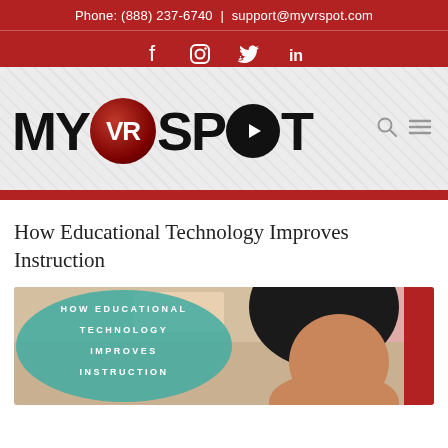Phone: (888) 237-6740 | support@myvrspot.com
[Figure (logo): MyVRSpot logo with social media icons (Facebook, Instagram, Twitter, LinkedIn) on red bar, and navigation icons]
How Educational Technology Improves Instruction
[Figure (photo): Hero image with teal blob overlay reading 'HOW EDUCATIONAL TECHNOLOGY IMPROVES INSTRUCTION' with a child in the background]